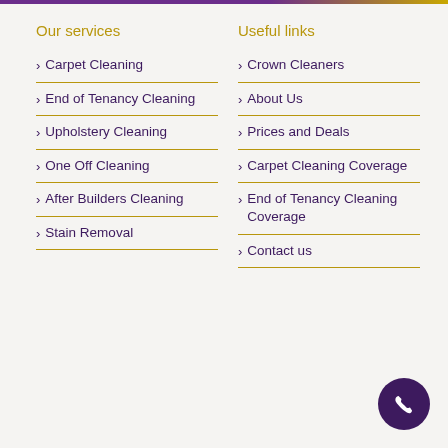Our services
Carpet Cleaning
End of Tenancy Cleaning
Upholstery Cleaning
One Off Cleaning
After Builders Cleaning
Stain Removal
Useful links
Crown Cleaners
About Us
Prices and Deals
Carpet Cleaning Coverage
End of Tenancy Cleaning Coverage
Contact us